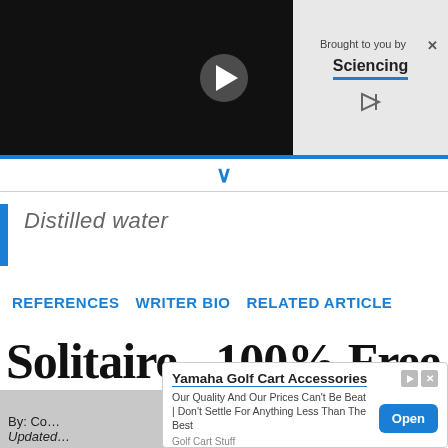[Figure (screenshot): Video player with dark background and white play button]
Brought to you by Sciencing
Distilled water
REFERENCES   WRITER BIO   RELATED ARTICLE
Solitaire - 100% Free to Play Online
By: Co... Updated...
[Figure (infographic): Ad overlay: Yamaha Golf Cart Accessories. Our Quality And Our Prices Can't Be Beat | Don't Settle For Anything Less Than The Best. Golf Cart Stuff. Open button.]